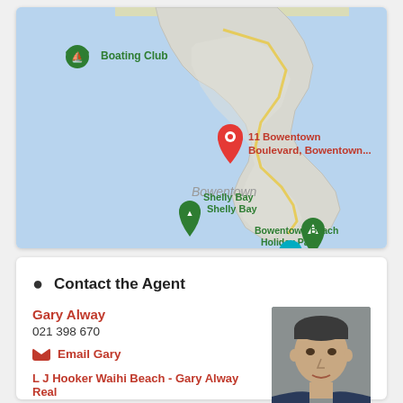[Figure (map): Google Maps screenshot showing Bowentown peninsula area with markers for: 11 Bowentown Boulevard (red pin), Boating Club (green pin), Bowentown Beach Holiday Park (green camping pin), Shelly Bay (green tree pin), Bowentown lookout (teal camera pin). Land shown in grey/white on blue water background.]
Contact the Agent
Gary Alway
021 398 670
Email Gary
L J Hooker Waihi Beach - Gary Alway Real